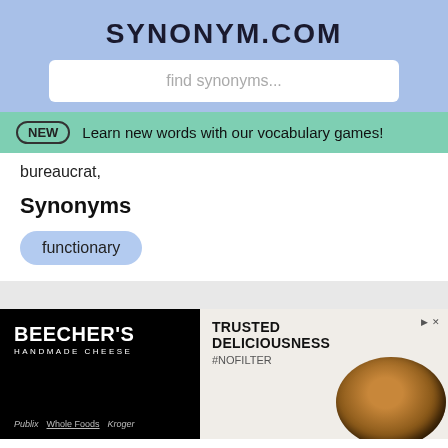SYNONYM.COM
find synonyms...
NEW  Learn new words with our vocabulary games!
bureaucrat,
Synonyms
functionary
[Figure (screenshot): Advertisement: Beecher's Handmade Cheese with Publix, Whole Foods, Kroger logos on black background]
[Figure (screenshot): Advertisement: TRUSTED DELICIOUSNESS #NOFILTER with food image, ad icons]